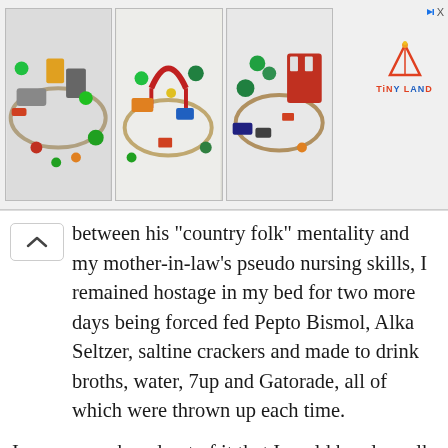[Figure (photo): Advertisement banner showing three images of wooden toy train sets with colorful accessories, with a Tiny Land brand logo on the right and a skip ad button.]
between his "country folk" mentality and my mother-in-law's pseudo nursing skills, I remained hostage in my bed for two more days being forced fed Pepto Bismol, Alka Seltzer, saltine crackers and made to drink broths, water, 7up and Gatorade, all of which were thrown up each time.

I was so weak and out of it that I could barely walk the six or seven steps to the bathroom and every time one of them was with me. It truly felt like a lost scene from the "Skeleton Key" and I convinced myself they had it out for me. I even